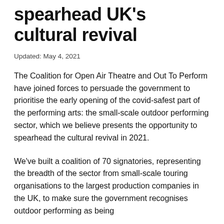spearhead UK's cultural revival
Updated: May 4, 2021
The Coalition for Open Air Theatre and Out To Perform have joined forces to persuade the government to prioritise the early opening of the covid-safest part of the performing arts: the small-scale outdoor performing sector, which we believe presents the opportunity to spearhead the cultural revival in 2021.
We've built a coalition of 70 signatories, representing the breadth of the sector from small-scale touring organisations to the largest production companies in the UK, to make sure the government recognises outdoor performing as being…